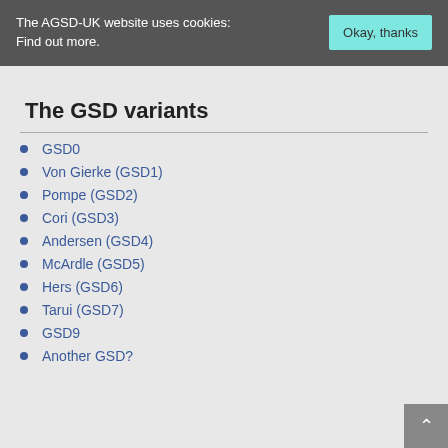The AGSD-UK website uses cookies: Find out more.
The GSD variants
GSD0
Von Gierke (GSD1)
Pompe (GSD2)
Cori (GSD3)
Andersen (GSD4)
McArdle (GSD5)
Hers (GSD6)
Tarui (GSD7)
GSD9
Another GSD?